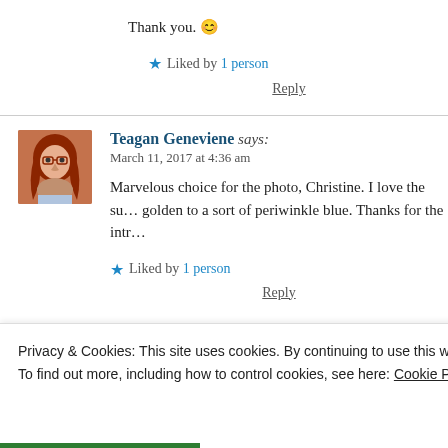Thank you. 😊
★ Liked by 1 person
Reply
[Figure (photo): Avatar photo of Teagan Geneviene, a woman with red hair]
Teagan Geneviene says: March 11, 2017 at 4:36 am
Marvelous choice for the photo, Christine. I love the su… golden to a sort of periwinkle blue. Thanks for the intro…
★ Liked by 1 person
Reply
Privacy & Cookies: This site uses cookies. By continuing to use this website, you agree to their use.
To find out more, including how to control cookies, see here: Cookie Policy
Close and accept